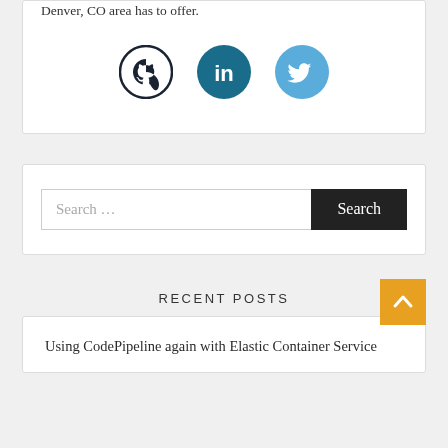Denver, CO area has to offer.
[Figure (illustration): Three social media icon circles: GitHub (dark outline circle with GitHub cat logo), LinkedIn (teal circle with 'in' logo), Twitter (light blue circle with bird logo)]
[Figure (other): Search bar with placeholder text 'Search ...' and a black 'Search' button]
RECENT POSTS
Using CodePipeline again with Elastic Container Service